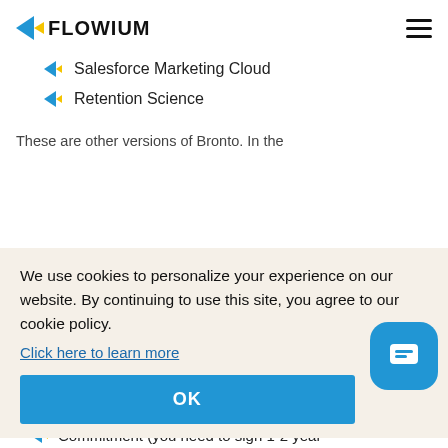FLOWIUM
Salesforce Marketing Cloud
Retention Science
These are other versions of Bronto. In the
We use cookies to personalize your experience on our website. By continuing to use this site, you agree to our cookie policy.
Click here to learn more
Commitment (you need to sign 1-2 year